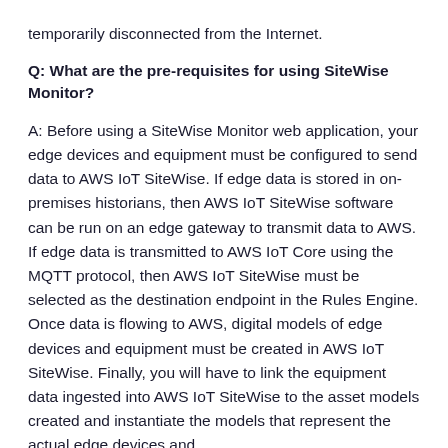temporarily disconnected from the Internet.
Q: What are the pre-requisites for using SiteWise Monitor?
A: Before using a SiteWise Monitor web application, your edge devices and equipment must be configured to send data to AWS IoT SiteWise. If edge data is stored in on-premises historians, then AWS IoT SiteWise software can be run on an edge gateway to transmit data to AWS. If edge data is transmitted to AWS IoT Core using the MQTT protocol, then AWS IoT SiteWise must be selected as the destination endpoint in the Rules Engine. Once data is flowing to AWS, digital models of edge devices and equipment must be created in AWS IoT SiteWise. Finally, you will have to link the equipment data ingested into AWS IoT SiteWise to the asset models created and instantiate the models that represent the actual edge devices and